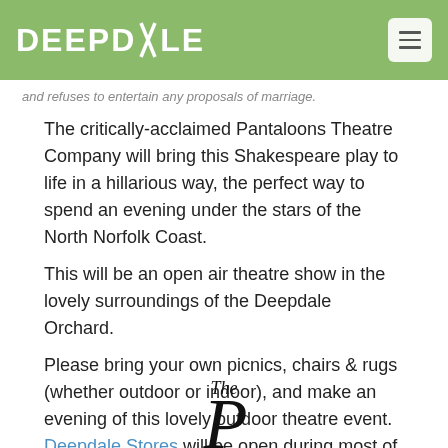DEEPDALE
and refuses to entertain any proposals of marriage.
The critically-acclaimed Pantaloons Theatre Company will bring this Shakespeare play to life in a hillarious way, the perfect way to spend an evening under the stars of the North Norfolk Coast.
This will be an open air theatre show in the lovely surroundings of the Deepdale Orchard.
Please bring your own picnics, chairs & rugs (whether outdoor or indoor), and make an evening of this lovely outdoor theatre event. Deepdale Stores will be open during most of the performance for extra snacks, or provisions before the show.
[Figure (logo): Pantaloons Theatre Company logo with cursive 'The' above a large decorative script letter beginning]